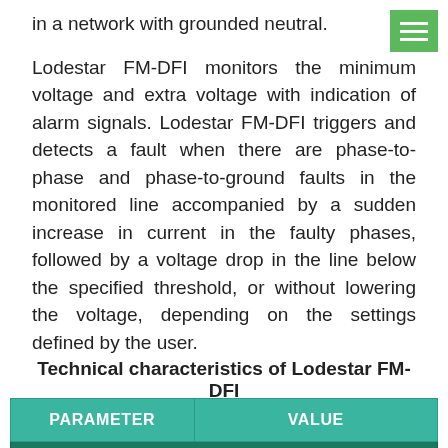in a network with grounded neutral.
Lodestar FM-DFI monitors the minimum voltage and extra voltage with indication of alarm signals. Lodestar FM-DFI triggers and detects a fault when there are phase-to-phase and phase-to-ground faults in the monitored line accompanied by a sudden increase in current in the faulty phases, followed by a voltage drop in the line below the specified threshold, or without lowering the voltage, depending on the settings defined by the user.
Technical characteristics of Lodestar FM-DFI
| PARAMETER | VALUE |
| --- | --- |
| Types of registered faults |  |
|  | Ground fault current ... |